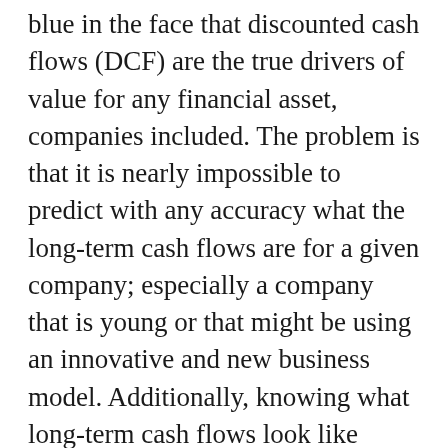blue in the face that discounted cash flows (DCF) are the true drivers of value for any financial asset, companies included. The problem is that it is nearly impossible to predict with any accuracy what the long-term cash flows are for a given company; especially a company that is young or that might be using an innovative and new business model. Additionally, knowing what long-term cash flows look like requires knowledge of a vast number of disparate future variables. What is the long-term growth rate? What is the long-term operating margin? How long will this company hold off competition? How much will they be required to reinvest?